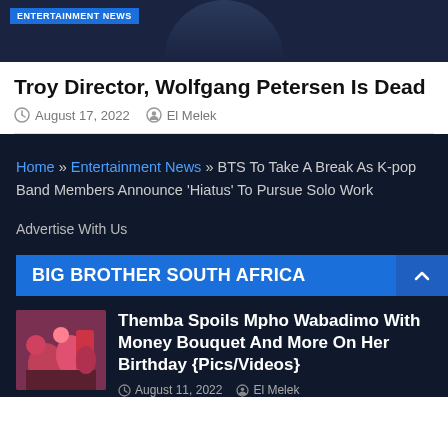[Figure (photo): Dark background image with ENTERTAINMENT NEWS badge]
Troy Director, Wolfgang Petersen Is Dead
August 17, 2022  El Melek
Home » Entertainment News » BTS To Take A Break As K-pop Band Members Announce 'Hiatus' To Pursue Solo Work
Advertise With Us
BIG BROTHER SOUTH AFRICA
[Figure (photo): Thumbnail image of colorful flowers and gifts]
Themba Spoils Mpho Wabadimo With Money Bouquet And More On Her Birthday {Pics/Videos}
August 11, 2022  El Melek